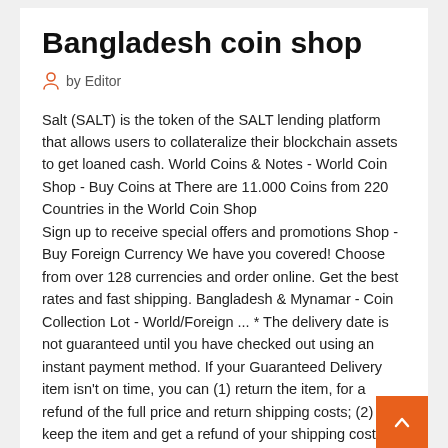Bangladesh coin shop
by Editor
Salt (SALT) is the token of the SALT lending platform that allows users to collateralize their blockchain assets to get loaned cash. World Coins & Notes - World Coin Shop - Buy Coins at There are 11.000 Coins from 220 Countries in the World Coin Shop
Sign up to receive special offers and promotions Shop - Buy Foreign Currency We have you covered! Choose from over 128 currencies and order online. Get the best rates and fast shipping. Bangladesh & Mynamar - Coin Collection Lot - World/Foreign ... * The delivery date is not guaranteed until you have checked out using an instant payment method. If your Guaranteed Delivery item isn't on time, you can (1) return the item, for a refund of the full price and return shipping costs; (2) keep the item and get a refund of your shipping costs shipping was free, get a ...